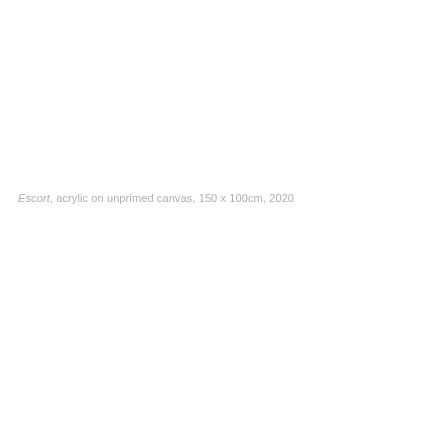Escort, acrylic on unprimed canvas, 150 x 100cm, 2020